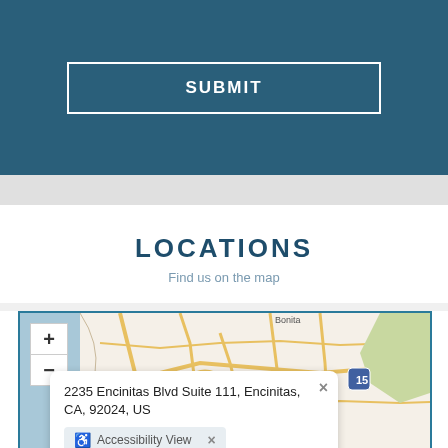SUBMIT
LOCATIONS
Find us on the map
[Figure (map): Interactive map showing Oceanside and Vista area in California with zoom controls. A popup shows address: 2235 Encinitas Blvd Suite 111, Encinitas, CA, 92024, US with an Accessibility View button.]
2235 Encinitas Blvd Suite 111, Encinitas, CA, 92024, US
Accessibility View